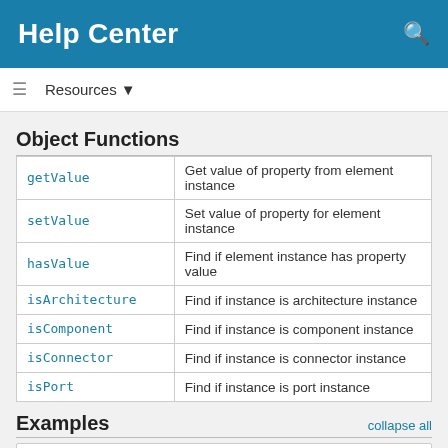Help Center
Resources
Object Functions
| Function | Description |
| --- | --- |
| getValue | Get value of property from element instance |
| setValue | Set value of property for element instance |
| hasValue | Find if element instance has property value |
| isArchitecture | Find if instance is architecture instance |
| isComponent | Find if instance is component instance |
| isConnector | Find if instance is connector instance |
| isPort | Find if instance is port instance |
Examples
collapse all
Analyze Latency Characteristics